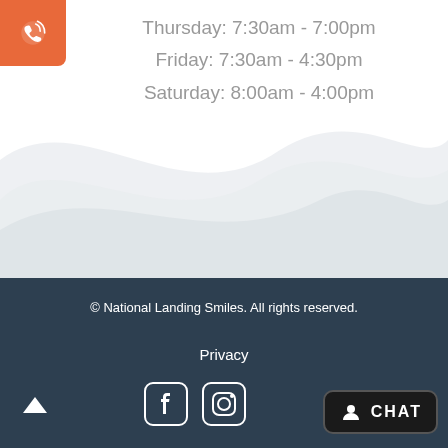Thursday: 7:30am - 7:00pm
Friday: 7:30am - 4:30pm
Saturday: 8:00am - 4:00pm
[Figure (illustration): Decorative wave/cloud background shape in light gray]
© National Landing Smiles. All rights reserved.
Privacy
[Figure (logo): Facebook and Instagram social media icons in white]
[Figure (other): Chat button with person icon and CHAT text on dark background]